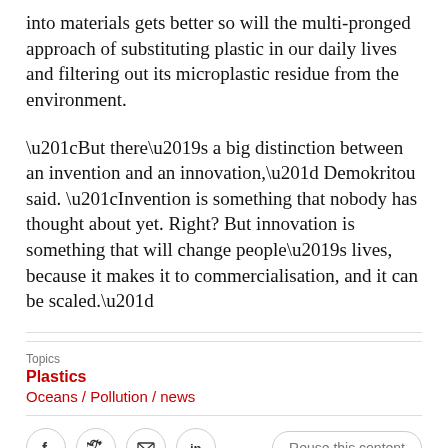into materials gets better so will the multi-pronged approach of substituting plastic in our daily lives and filtering out its microplastic residue from the environment.
“But there’s a big distinction between an invention and an innovation,” Demokritou said. “Invention is something that nobody has thought about yet. Right? But innovation is something that will change people’s lives, because it makes it to commercialisation, and it can be scaled.”
Topics
Plastics
Oceans / Pollution / news
[Figure (other): Social share buttons: Facebook, Twitter, Email, LinkedIn, WhatsApp, Messenger icons, and a Reuse this content button]